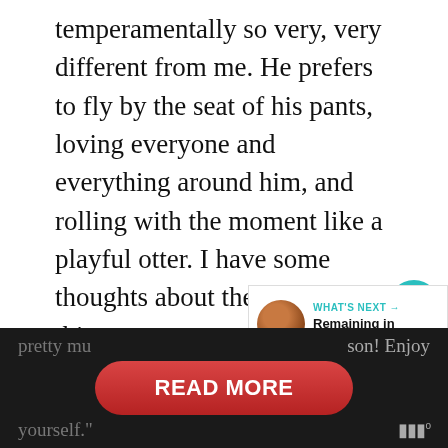temperamentally so very, very different from me. He prefers to fly by the seat of his pants, loving everyone and everything around him, and rolling with the moment like a playful otter. I have some thoughts about the wisdom of this strategy to prepare one for life, but, luckily for you, I will keep those thoughts to myself for the moment. You can just play your own imagined version of my response to this in regard to school work in your head right now, and fell well and duly lectured. But school work aside, playing a hobby for my son, so it's his deal, and I'm
pretty mu... son! Enjoy yourself.
[Figure (screenshot): UI overlay showing a teal heart/like button with count of 1, a teal share button, and a 'WHAT'S NEXT' card showing a thumbnail photo and text 'Remaining in Him']
READ MORE